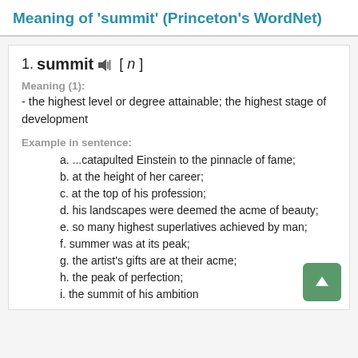Meaning of 'summit' (Princeton's WordNet)
1. summit ◄)) [ n ]
Meaning (1):
- the highest level or degree attainable; the highest stage of development
Example in sentence:
a. ...catapulted Einstein to the pinnacle of fame;
b. at the height of her career;
c. at the top of his profession;
d. his landscapes were deemed the acme of beauty;
e. so many highest superlatives achieved by man;
f. summer was at its peak;
g. the artist's gifts are at their acme;
h. the peak of perfection;
i. the summit of his ambition